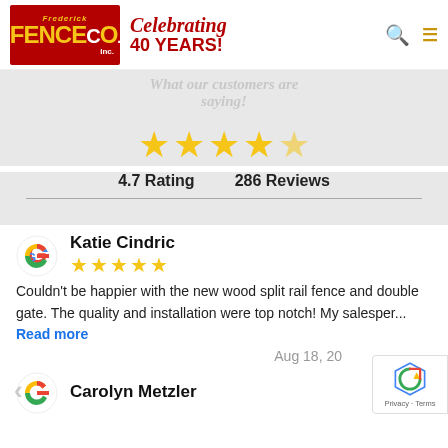[Figure (logo): Frederick Fence Co. Inc. logo on red background with yellow text]
Celebrating 40 YEARS!
What our customers are saying!
[Figure (infographic): 4.7 out of 5 stars rating display with 5 gold stars (last one partially filled)]
4.7 Rating   286 Reviews
Katie Cindric — 5 stars — Couldn't be happier with the new wood split rail fence and double gate. The quality and installation were top notch! My salesper... Read more
Aug 18, 20
Carolyn Metzler